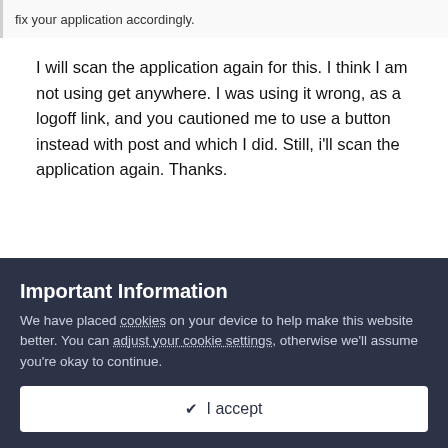fix your application accordingly.
I will scan the application again for this. I think I am not using get anywhere. I was using it wrong, as a logoff link, and you cautioned me to use a button instead with post and which I did. Still, i'll scan the application again. Thanks.
Quote
Important Information
We have placed cookies on your device to help make this website better. You can adjust your cookie settings, otherwise we'll assume you're okay to continue.
I accept